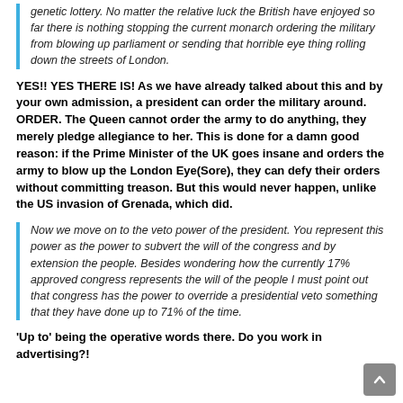genetic lottery. No matter the relative luck the British have enjoyed so far there is nothing stopping the current monarch ordering the military from blowing up parliament or sending that horrible eye thing rolling down the streets of London.
YES!! YES THERE IS! As we have already talked about this and by your own admission, a president can order the military around. ORDER. The Queen cannot order the army to do anything, they merely pledge allegiance to her. This is done for a damn good reason: if the Prime Minister of the UK goes insane and orders the army to blow up the London Eye(Sore), they can defy their orders without committing treason. But this would never happen, unlike the US invasion of Grenada, which did.
Now we move on to the veto power of the president. You represent this power as the power to subvert the will of the congress and by extension the people. Besides wondering how the currently 17% approved congress represents the will of the people I must point out that congress has the power to override a presidential veto something that they have done up to 71% of the time.
'Up to' being the operative words there. Do you work in advertising?!